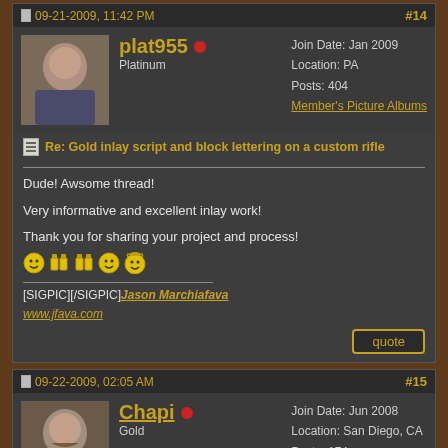Post #14 - 09-21-2009, 11:42 PM
plat955 | Platinum | Join Date: Jan 2009 | Location: PA | Posts: 404 | Member's Picture Albums
Re: Gold inlay script and block lettering on a custom rifle
Dude! Awsome thread!

Very informative and excellent inlay work!

Thank you for sharing your project and process!
[SIGPIC][/SIGPIC] Jason Marchiafava
www.jfava.com
Post #15 - 09-22-2009, 02:05 AM
Chapi | Gold | Join Date: Jun 2008 | Location: San Diego, CA | Posts: 174 | Member's Picture Albums